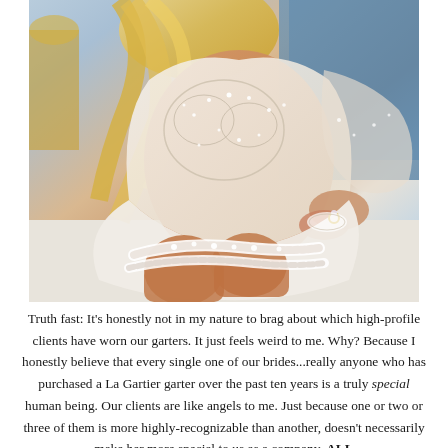[Figure (photo): Bride in an elaborate white lace and rhinestone wedding dress with sheer long sleeves, sitting and showing a white lace garter on her thigh. Blonde hair, ornate beaded bodice.]
Truth fast: It's honestly not in my nature to brag about which high-profile clients have worn our garters. It just feels weird to me. Why? Because I honestly believe that every single one of our brides...really anyone who has purchased a La Gartier garter over the past ten years is a truly special human being. Our clients are like angels to me. Just because one or two or three of them is more highly-recognizable than another, doesn't necessarily make her more special to us as a company. ALL